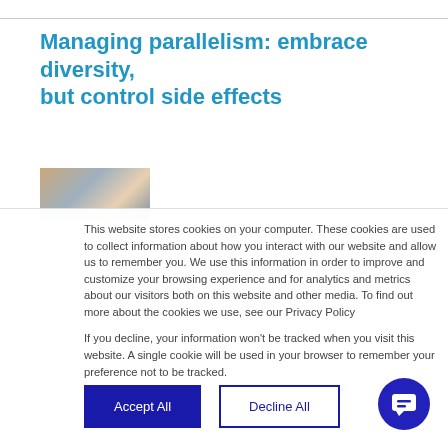Managing parallelism: embrace diversity, but control side effects
[Figure (photo): Small thumbnail photo of a person's face/head, partially visible]
This website stores cookies on your computer. These cookies are used to collect information about how you interact with our website and allow us to remember you. We use this information in order to improve and customize your browsing experience and for analytics and metrics about our visitors both on this website and other media. To find out more about the cookies we use, see our Privacy Policy
If you decline, your information won't be tracked when you visit this website. A single cookie will be used in your browser to remember your preference not to be tracked.